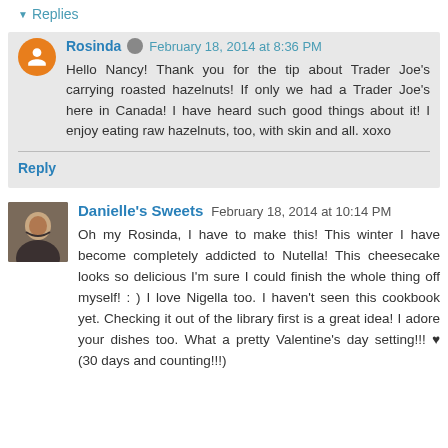Replies
Rosinda  February 18, 2014 at 8:36 PM
Hello Nancy! Thank you for the tip about Trader Joe's carrying roasted hazelnuts! If only we had a Trader Joe's here in Canada! I have heard such good things about it! I enjoy eating raw hazelnuts, too, with skin and all. xoxo
Reply
Danielle's Sweets  February 18, 2014 at 10:14 PM
Oh my Rosinda, I have to make this! This winter I have become completely addicted to Nutella! This cheesecake looks so delicious I'm sure I could finish the whole thing off myself! : ) I love Nigella too. I haven't seen this cookbook yet. Checking it out of the library first is a great idea! I adore your dishes too. What a pretty Valentine's day setting!!! ♥ (30 days and counting!!!)